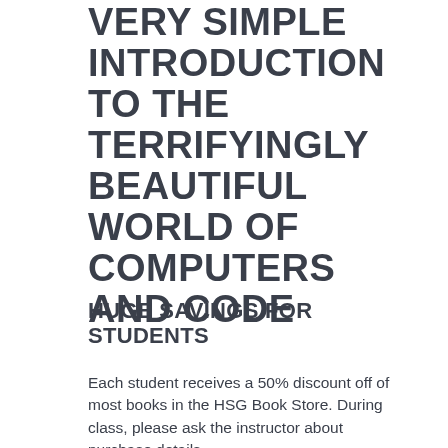VERY SIMPLE INTRODUCTION TO THE TERRIFYINGLY BEAUTIFUL WORLD OF COMPUTERS AND CODE
HUGE SAVINGS FOR STUDENTS
Each student receives a 50% discount off of most books in the HSG Book Store. During class, please ask the instructor about purchase details.